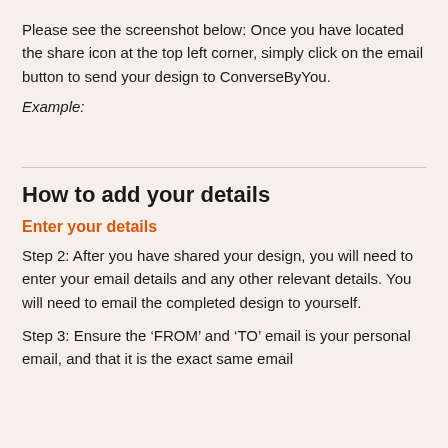Please see the screenshot below: Once you have located the share icon at the top left corner, simply click on the email button to send your design to ConverseByYou.
Example:
How to add your details
Enter your details
Step 2: After you have shared your design, you will need to enter your email details and any other relevant details. You will need to email the completed design to yourself.
Step 3: Ensure the ‘FROM’ and ‘TO’ email is your personal email, and that it is the exact same email